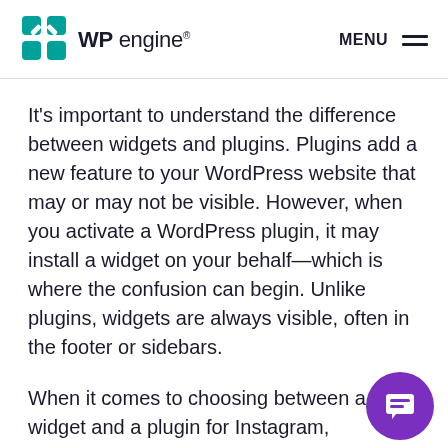WP engine® MENU ☰
It's important to understand the difference between widgets and plugins. Plugins add a new feature to your WordPress website that may or may not be visible. However, when you activate a WordPress plugin, it may install a widget on your behalf—which is where the confusion can begin. Unlike plugins, widgets are always visible, often in the footer or sidebars.
When it comes to choosing between a widget and a plugin for Instagram, everything depends on your desired features. If you just want to display your Instagram feed or add social icons, a simple Instagram